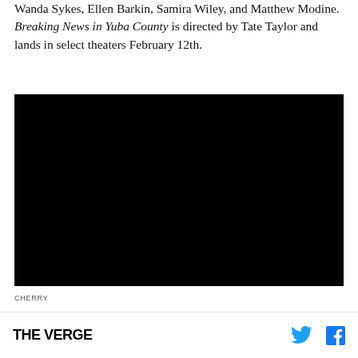Wanda Sykes, Ellen Barkin, Samira Wiley, and Matthew Modine. Breaking News in Yuba County is directed by Tate Taylor and lands in select theaters February 12th.
[Figure (other): Black video player embed, showing a fully black/dark screen]
CHERRY
THE VERGE [Twitter icon] [Facebook icon]